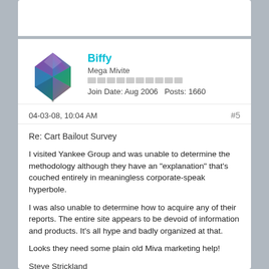[Figure (illustration): 3D iridescent geometric cube avatar for user Biffy]
Biffy
Mega Mivite
Join Date: Aug 2006    Posts: 1660
04-03-08, 10:04 AM
#5
Re: Cart Bailout Survey
I visited Yankee Group and was unable to determine the methodology although they have an "explanation" that's couched entirely in meaningless corporate-speak hyperbole.
I was also unable to determine how to acquire any of their reports. The entire site appears to be devoid of information and products. It's all hype and badly organized at that.
Looks they need some plain old Miva marketing help!
Steve Strickland